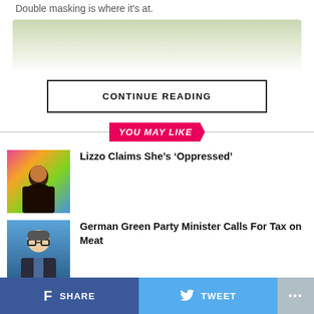Double masking is where it's at.
[Figure (photo): Faded outdoor photo with trees, used as article image fading to white]
CONTINUE READING
YOU MAY LIKE
[Figure (photo): Thumbnail photo of Lizzo with colorful rainbow background, performing on stage]
Lizzo Claims She’s ‘Oppressed’
[Figure (photo): Thumbnail photo of a man in glasses, German Green Party minister]
German Green Party Minister Calls For Tax on Meat
SHARE   TWEET   ...